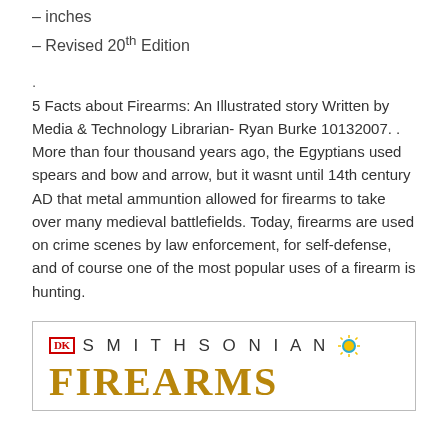– inches
– Revised 20th Edition
.
5 Facts about Firearms: An Illustrated story Written by Media & Technology Librarian- Ryan Burke 10132007. . More than four thousand years ago, the Egyptians used spears and bow and arrow, but it wasnt until 14th century AD that metal ammuntion allowed for firearms to take over many medieval battlefields. Today, firearms are used on crime scenes by law enforcement, for self-defense, and of course one of the most popular uses of a firearm is hunting.
[Figure (other): Book cover snippet showing DK and Smithsonian logos, and the title FIREARMS in gold letters]